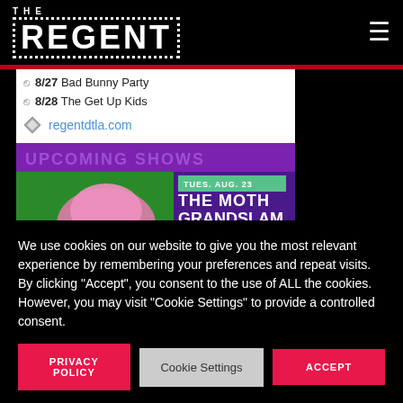THE REGENT
8/27 Bad Bunny Party
8/28 The Get Up Kids
regentdtla.com
[Figure (photo): Upcoming shows event banner — TUES. AUG. 23 THE MOTH GRANDSLAM, purple/green background with pink-haired performer]
We use cookies on our website to give you the most relevant experience by remembering your preferences and repeat visits. By clicking "Accept", you consent to the use of ALL the cookies. However, you may visit "Cookie Settings" to provide a controlled consent.
PRIVACY POLICY   Cookie Settings   ACCEPT